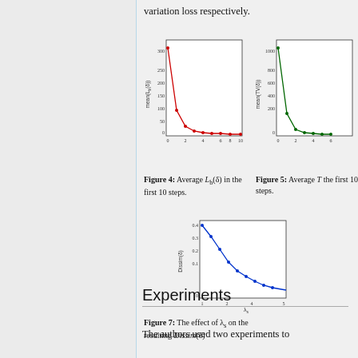variation loss respectively.
[Figure (line-chart): Red line chart showing mean L_b(δ) over first 10 steps, steep drop from ~300 to near 0]
[Figure (line-chart): Green line chart showing mean TV(δ) over first 10 steps, steep drop from ~1000 to near 0]
Figure 4: Average L_b(δ) in the first 10 steps.
Figure 5: Average [TV] in the first 10 steps.
[Figure (line-chart): Blue line chart showing Dissim(δ) vs λ_s, decreasing curve from ~0.4 to near 0]
Figure 7: The effect of λ_s on the resulting Dissim(δ)
Experiments
The authors used two experiments to